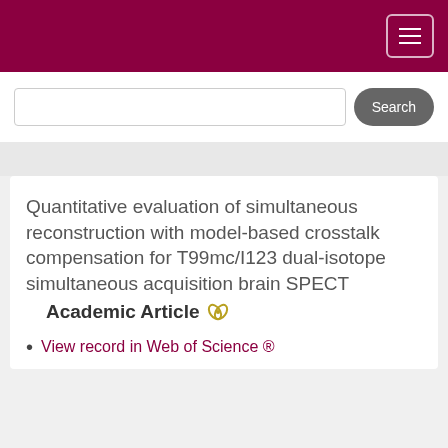Quantitative evaluation of simultaneous reconstruction with model-based crosstalk compensation for T99mc/I123 dual-isotope simultaneous acquisition brain SPECT
Academic Article
View record in Web of Science ®